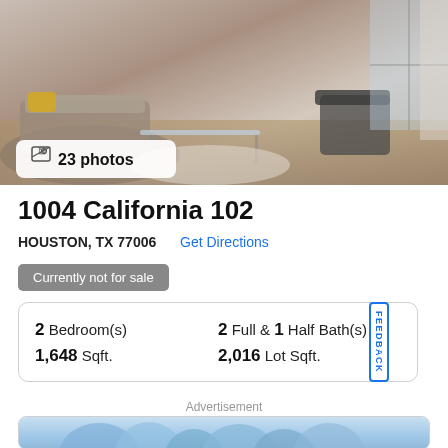[Figure (photo): Interior living room photo of apartment with furniture, glass coffee table, and large windows]
1004 California 102
HOUSTON, TX 77006  Get Directions
Currently not for sale
| 2 Bedroom(s) | 2 Full & 1 Half Bath(s) |
| 1,648 Sqft. | 2,016 Lot Sqft. |
Advertisement
[Figure (photo): Advertisement banner showing blue crystal/mountain landscape]